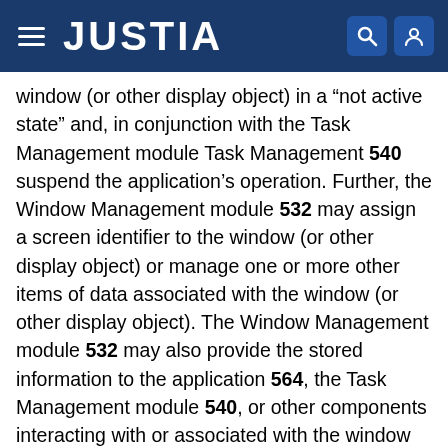JUSTIA
window (or other display object) in a “not active state” and, in conjunction with the Task Management module Task Management 540 suspend the application’s operation. Further, the Window Management module 532 may assign a screen identifier to the window (or other display object) or manage one or more other items of data associated with the window (or other display object). The Window Management module 532 may also provide the stored information to the application 564, the Task Management module 540, or other components interacting with or associated with the window (or other display object).
The Input Management module 536 is operable to manage events that occur with the device. An event is any input into the window environment, for example, a user interface interactions with a user. The Input